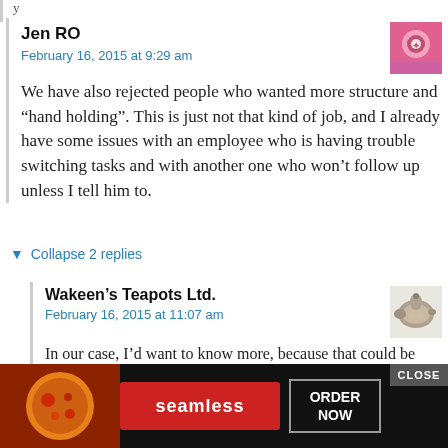y
Jen RO
February 16, 2015 at 9:29 am
[Figure (photo): Pink avatar image of Jen RO]
We have also rejected people who wanted more structure and “hand holding”. This is just not that kind of job, and I already have some issues with an employee who is having trouble switching tasks and with another one who won’t follow up unless I tell him to.
▼ Collapse 2 replies
Wakeen’s Teapots Ltd.
February 16, 2015 at 11:07 am
[Figure (photo): Teapot avatar image for Wakeen's Teapots Ltd.]
In our case, I’d want to know more, because that could be anywhere from a great to terrible fit fo... need p... tly ...lot of
[Figure (photo): Seamless advertisement overlay with pizza image, ORDER NOW button and CLOSE button]